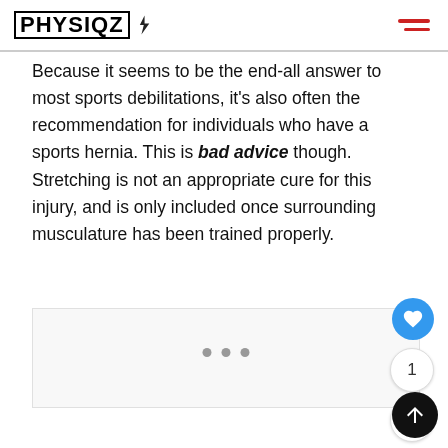PHYSIQZ
Because it seems to be the end-all answer to most sports debilitations, it’s also often the recommendation for individuals who have a sports hernia. This is bad advice though. Stretching is not an appropriate cure for this injury, and is only included once surrounding musculature has been trained properly.
[Figure (photo): Image area placeholder with three dot indicators at the bottom, likely a carousel or image slideshow]